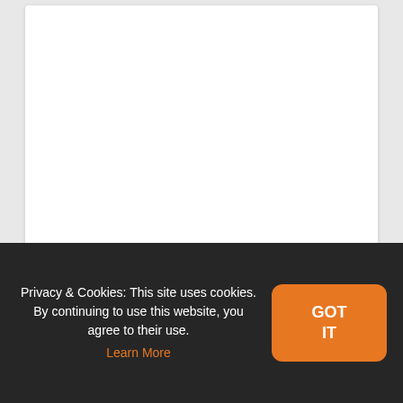[Figure (other): White card/image area, mostly blank white rectangle]
THE HERALD ANIME CLUB MEETING 77:
Privacy & Cookies: This site uses cookies. By continuing to use this website, you agree to their use. Learn More
GOT IT